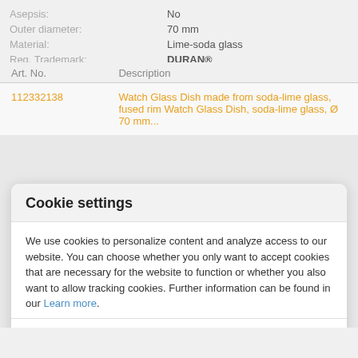|  |  |
| --- | --- |
| Asepsis: | No |
| Outer diameter: | 70 mm |
| Material: | Lime-soda glass |
| Reg. Trademark: | DURAN® |
| Art. No. | Description |
| --- | --- |
| 112332138 | Watch Glass Dish made from soda-lime glass, fused rim Watch Glass Dish, soda-lime glass, Ø 70 mm... |
Cookie settings
We use cookies to personalize content and analyze access to our website. You can choose whether you only want to accept cookies that are necessary for the website to function or whether you also want to allow tracking cookies. Further information can be found in our Learn more.
Use necessary cookies only
Accept all cookies